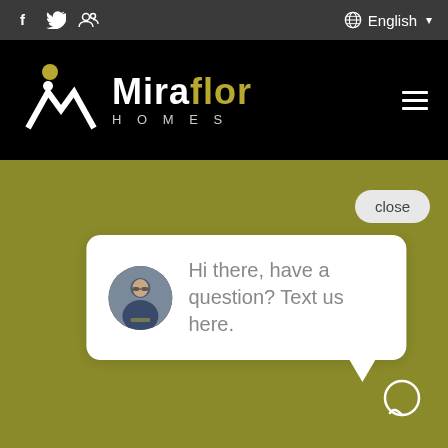f  Twitter  Social icons | English dropdown
[Figure (logo): Miraflor Homes logo with mountain/person icon in white and gold on black background, with hamburger menu icon]
[Figure (screenshot): Website screenshot showing Miraflor Homes page with olive/khaki green background, a 'close' pill button, a chat popup bubble with avatar and text 'Hi there, have a question? Text us here.' and a chat icon in bottom right corner]